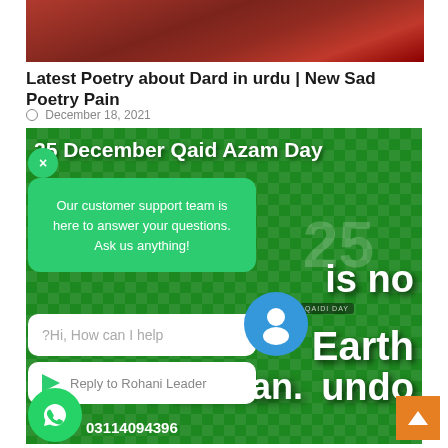[Figure (photo): Top portion of a photo showing people, cropped — dark red/brown tones visible]
Latest Poetry about Dard in urdu | New Sad Poetry Pain
December 18, 2021
[Figure (photo): Green promotional image for 25 December Qaid Azam Day with white bold text reading: 25 December Qaid Azam Day, is no, Earth, that can undo, Pakistan. Overlaid with a customer support chat widget, a close button (×), a green popup saying 'Our customer support team is here to answer your questions. Ask us anything!', a chat input field with 'Hi, How can I help?', a Reply to Rohani Leader button, a customer support agent icon, a WhatsApp button and number 03114094396.]